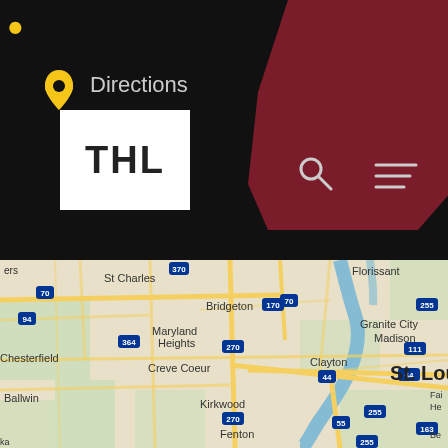[Figure (screenshot): Mobile app header bar with dark background, THL logo (white box with THL text), Directions label, location pin icon, dark maroon state map shape in upper right corner with search and menu icons]
[Figure (map): Google Maps style road map of St. Louis metro area showing cities including St. Charles, Florissant, Bridgeton, Maryland Heights, Creve Coeur, Clayton, St. Louis, Kirkwood, Ballwin, Fenton, Chouteau Island, Granite City, Madison, and highway routes including I-70, I-270, I-170, I-64, I-44, I-55, I-255, I-370, I-94, I-364, I-111, I-163]